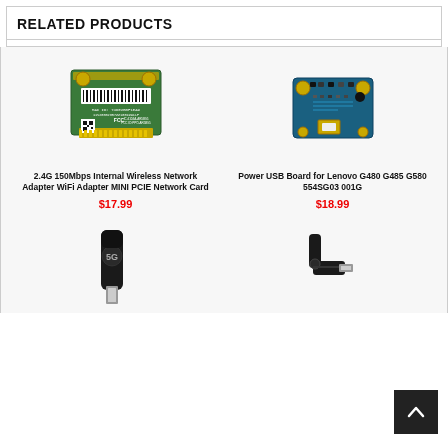RELATED PRODUCTS
[Figure (photo): Green mini PCIe wireless network card with barcode and FCC label]
2.4G 150Mbps Internal Wireless Network Adapter WiFi Adapter MINI PCIE Network Card
$17.99
[Figure (photo): Blue power USB board circuit card for Lenovo laptops]
Power USB Board for Lenovo G480 G485 G580 554SG03 001G
$18.99
[Figure (photo): Black USB 4G LTE dongle/modem stick]
[Figure (photo): Black USB wireless network adapter with foldable antenna]